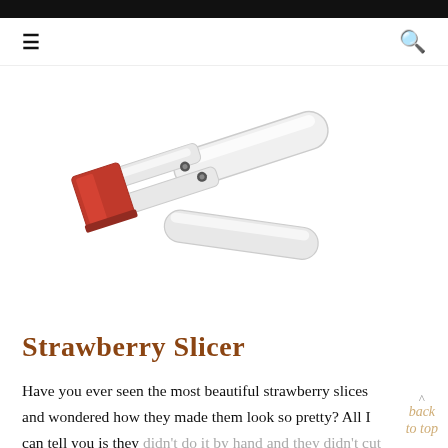≡  🔍
[Figure (photo): A strawberry slicer tool with white plastic body and red accent blade, photographed on white background]
Strawberry Slicer
Have you ever seen the most beautiful strawberry slices and wondered how they made them look so pretty? All I can tell you is they didn't do it by hand and they didn't cut their finger! This Strawberry slicer is awesome and